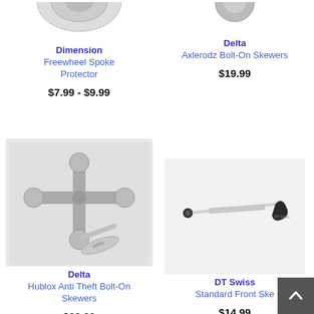[Figure (photo): Partial product photo of Dimension Freewheel Spoke Protector (top, cropped)]
Dimension
Freewheel Spoke Protector
$7.99 - $9.99
[Figure (photo): Partial product photo of Delta Axlerodz Bolt-On Skewers (top, cropped)]
Delta
Axlerodz Bolt-On Skewers
$19.99
[Figure (photo): Product photo of Delta Hublox Anti Theft Bolt-On Skewers — silver cross-shaped bolts and key on grey background]
Delta
Hublox Anti Theft Bolt-On Skewers
$29.99
[Figure (photo): Product photo of DT Swiss Standard Front Skewer — black quick-release skewer on white background]
DT Swiss
Standard Front Ske...
$14.99